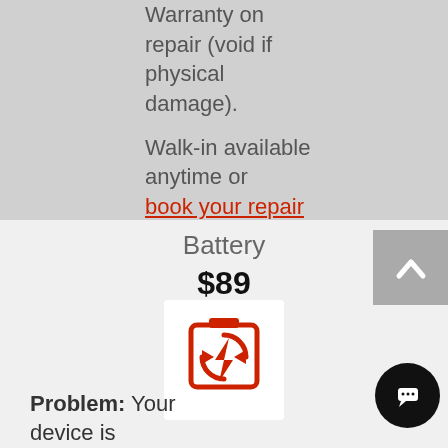Warranty on repair (void if physical damage).
Walk-in available anytime or book your repair now.
Battery
$89
[Figure (illustration): Red battery refresh/replace icon: a battery shape with circular arrows and a lightning bolt in the center, on white background]
Problem: Your device is